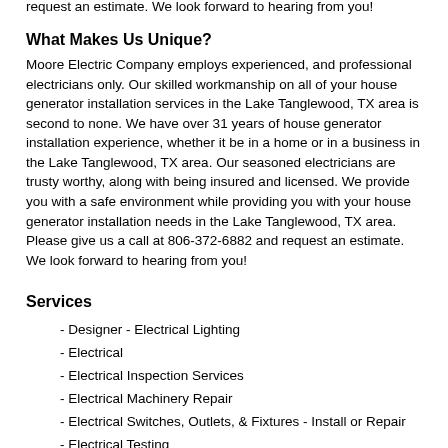licensed. We provide you with a safe environment while providing you with your house generator installation needs in the Lake Tanglewood, TX area. Please give us a call at 806-372-6882 and request an estimate. We look forward to hearing from you!
What Makes Us Unique?
Moore Electric Company employs experienced, and professional electricians only. Our skilled workmanship on all of your house generator installation services in the Lake Tanglewood, TX area is second to none. We have over 31 years of house generator installation experience, whether it be in a home or in a business in the Lake Tanglewood, TX area. Our seasoned electricians are trusty worthy, along with being insured and licensed. We provide you with a safe environment while providing you with your house generator installation needs in the Lake Tanglewood, TX area. Please give us a call at 806-372-6882 and request an estimate. We look forward to hearing from you!
Services
- Designer - Electrical Lighting
- Electrical
- Electrical Inspection Services
- Electrical Machinery Repair
- Electrical Switches, Outlets, & Fixtures - Install or Repair
- Electrical Testing
- Electrical Wiring or Panel Upgrade
- Energy Efficient Lighting - Install